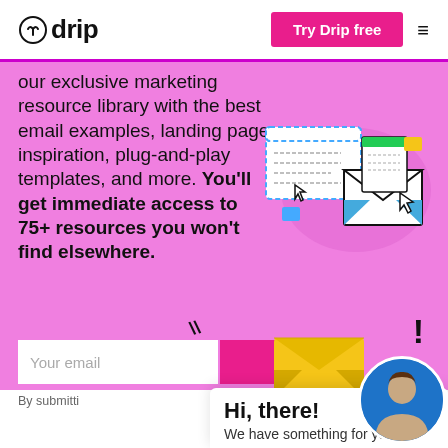drip | Try Drip free
our exclusive marketing resource library with the best email examples, landing page inspiration, plug-and-play templates, and more. You'll get immediate access to 75+ resources you won't find elsewhere.
[Figure (illustration): Illustration of email marketing resources: browser window with dashed outline, open envelope with document, cursor arrow icon, and decorative elements on pink oval background.]
Your email
By submitti
[Figure (illustration): Yellow envelope with blue circle avatar and exclamation mark, with chat popup showing Hi, there! and We have something for you]
Hi, there!
We have something for you